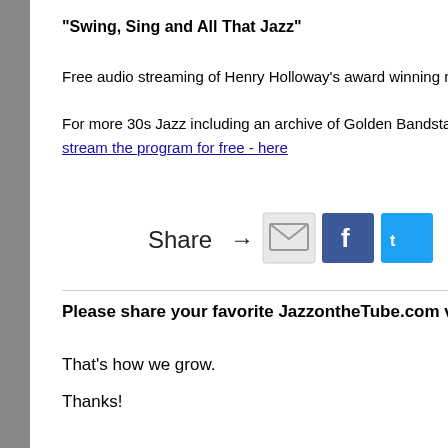"Swing, Sing and All That Jazz"
Free audio streaming of Henry Holloway's award winning radio program
For more 30s Jazz including an archive of Golden Bandstand winner Henry Holl... stream the program for free - here
[Figure (infographic): Share buttons with email, Facebook, and Twitter icons]
Please share your favorite JazzontheTube.com videos with you...
That's how we grow.
Thanks!
For more John Kirby vide...
See the complete c... 30's jazz vide...
About Us | Privacy Polic...